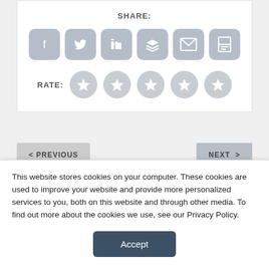SHARE:
[Figure (screenshot): Social share icons: Facebook, Twitter, LinkedIn, Buffer/layers, Email, Print - grey rounded square buttons]
RATE:
[Figure (screenshot): Five grey star rating circles]
< PREVIOUS
NEXT >
The CMS Gives and the CMS Takes Away
News Story #15297
This website stores cookies on your computer. These cookies are used to improve your website and provide more personalized services to you, both on this website and through other media. To find out more about the cookies we use, see our Privacy Policy.
Accept